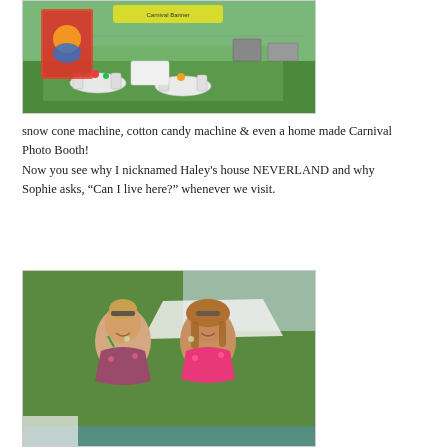[Figure (photo): Outdoor backyard carnival party setup with white tables and chairs, colorful decorations, a carnival character banner, grills and food tables in the background, green lawn]
snow cone machine, cotton candy machine & even a home made Carnival Photo Booth!
Now you see why I nicknamed Haley's house NEVERLAND and why Sophie asks, “Can I live here?” whenever we visit.
[Figure (photo): Two smiling young women posing together outdoors near a pool, one wearing a floral bikini top and the other wearing a pink bikini top, trees and a white tent in the background]